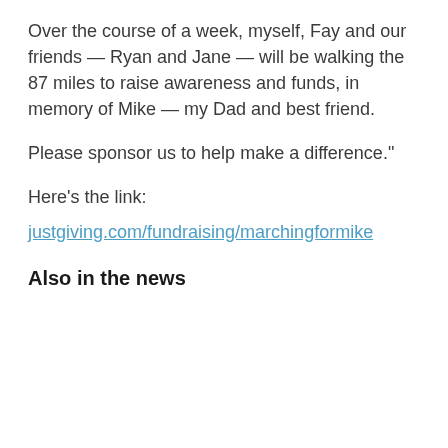Over the course of a week, myself, Fay and our friends — Ryan and Jane — will be walking the 87 miles to raise awareness and funds, in memory of Mike — my Dad and best friend.
Please sponsor us to help make a difference."
Here's the link:
justgiving.com/fundraising/marchingformike
Also in the news